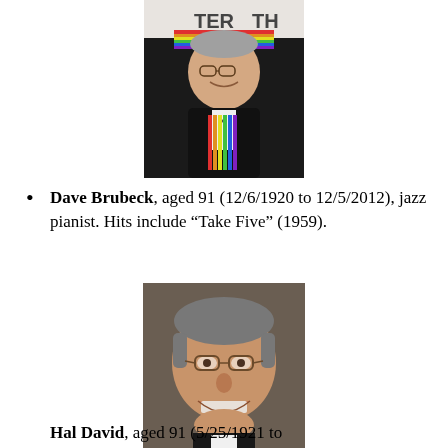[Figure (photo): Elderly man in tuxedo with colorful Kennedy Center Honors ribbon, smiling at camera, against a backdrop with partial text 'TER' and 'TH']
Dave Brubeck, aged 91 (12/6/1920 to 12/5/2012), jazz pianist. Hits include “Take Five” (1959).
[Figure (photo): Elderly man with glasses and grey hair, smiling, wearing dark jacket and white shirt]
Hal David, aged 91 (5/25/1921 to